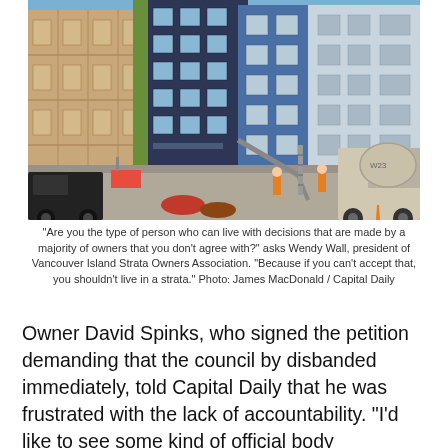[Figure (photo): Construction site photo showing multi-story apartment buildings under construction. On the left is a building with exposed wood framing, in the middle is a completed blue/dark colored building, and on the right is a completed building with blue and white exterior. Workers in orange vests and a large concrete mixer truck are visible at ground level. A black pickup truck is parked on the left.]
"Are you the type of person who can live with decisions that are made by a majority of owners that you don't agree with?" asks Wendy Wall, president of Vancouver Island Strata Owners Association. "Because if you can't accept that, you shouldn't live in a strata." Photo: James MacDonald / Capital Daily
Owner David Spinks, who signed the petition demanding that the council by disbanded immediately, told Capital Daily that he was frustrated with the lack of accountability.  "I'd like to see some kind of official body overseeing the stratas to keep them on track," he said. Another Little Qualicum River Village